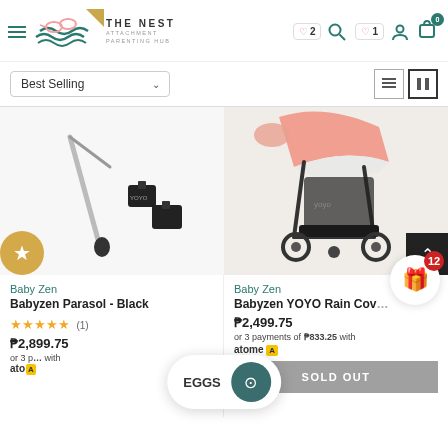THE NEST — ATTACHMENT PARENTING HUB
Best Selling (sort dropdown)
[Figure (photo): Babyzen Parasol - Black product image showing parasol handle and car seat adapters on white background]
Baby Zen
Babyzen Parasol - Black
★★★★★ (1)
₱2,899.75
or 3 payments of ₱966.58 with atome
[Figure (photo): Babyzen YOYO Rain Cover product image showing stroller with rain cover on light background]
Baby Zen
Babyzen YOYO Rain Cover
₱2,499.75
or 3 payments of ₱833.25 with atome
SOLD OUT
EGGS (notification bubble with teal circle icon)